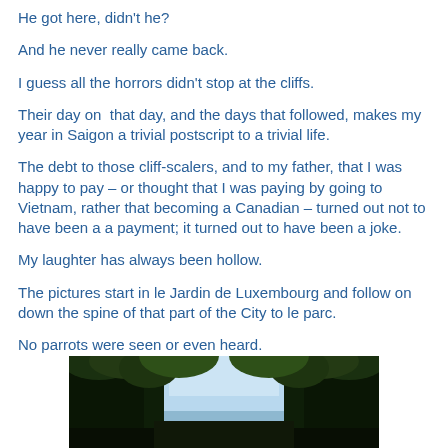He got here, didn't he?
And he never really came back.
I guess all the horrors didn't stop at the cliffs.
Their day on  that day, and the days that followed, makes my year in Saigon a trivial postscript to a trivial life.
The debt to those cliff-scalers, and to my father, that I was happy to pay – or thought that I was paying by going to Vietnam, rather that becoming a Canadian – turned out not to have been a a payment; it turned out to have been a joke.
My laughter has always been hollow.
The pictures start in le Jardin de Luxembourg and follow on down the spine of that part of the City to le parc.
No parrots were seen or even heard.
[Figure (photo): Outdoor garden/park photo showing tall dense hedges or trees on the sides with a sky visible in the middle, taken in le Jardin de Luxembourg or similar Parisian park.]